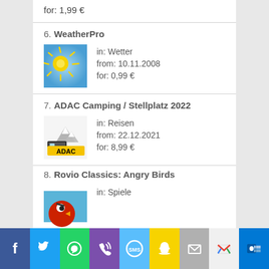for: 1,99 €
6. WeatherPro — in: Wetter, from: 10.11.2008, for: 0,99 €
7. ADAC Camping / Stellplatz 2022 — in: Reisen, from: 22.12.2021, for: 8,99 €
8. Rovio Classics: Angry Birds — in: Spiele